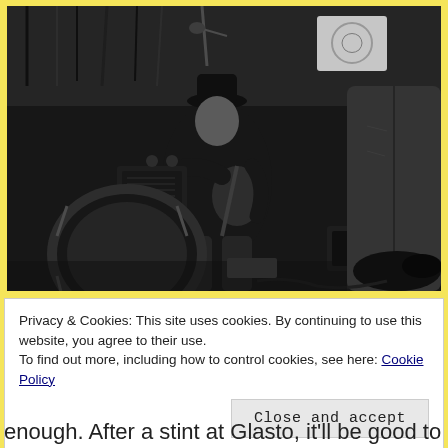[Figure (photo): Black and white photograph of musicians performing. A guitarist wearing a bowler hat sits in the background playing guitar with an amplifier behind them. In the foreground, a person in jeans is mid-motion. A bass drum is visible on the left side of the image.]
Privacy & Cookies: This site uses cookies. By continuing to use this website, you agree to their use.
To find out more, including how to control cookies, see here: Cookie Policy
Close and accept
enough. After a stint at Glasto, it'll be good to see